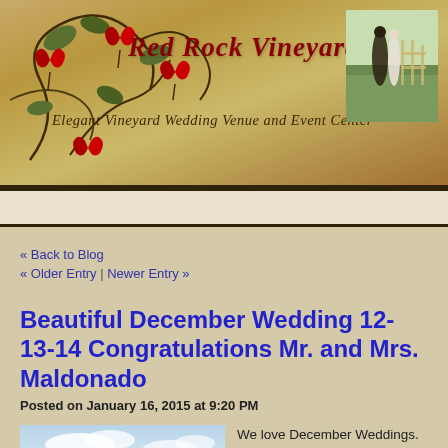[Figure (illustration): Red Rock Vineyards banner header with decorative vine and red heart-shaped flowers on kraft paper background, cursive red logo text 'Red Rock Vineyards', italic tagline 'Elegant Vineyard Wedding Venue and Event Center', and a couple photo on the right side.]
Red Rock Vineyards — Elegant Vineyard Wedding Venue and Event Center
« Back to Blog
« Older Entry  |  Newer Entry »
Beautiful December Wedding 12-13-14 Congratulations Mr. and Mrs. Maldonado
Posted on January 16, 2015 at 9:20 PM
[Figure (photo): Outdoor wedding photo showing silhouette of couple against a light blue sky with clouds]
We love December Weddings. This year we had one date that was requested more than any other this year